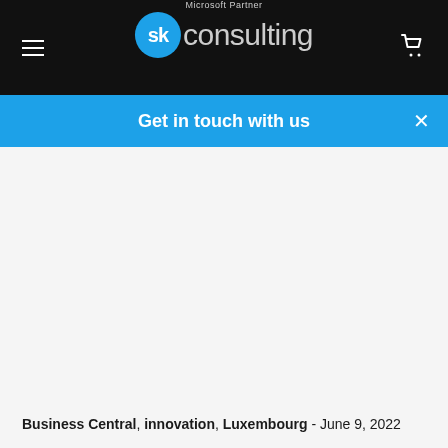sk consulting — Microsoft Partner
Get in touch with us
Business Central, innovation, Luxembourg - June 9, 2022